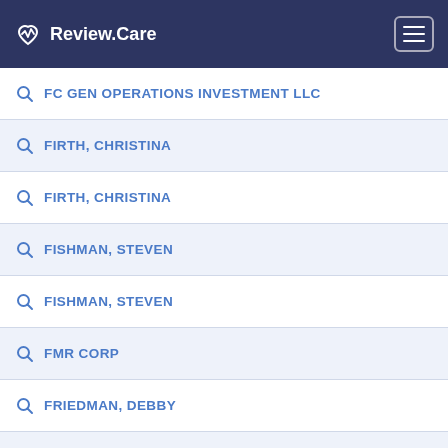Review.Care
FC GEN OPERATIONS INVESTMENT LLC
FIRTH, CHRISTINA
FIRTH, CHRISTINA
FISHMAN, STEVEN
FISHMAN, STEVEN
FMR CORP
FRIEDMAN, DEBBY
GAZELLE GEN LLC
GEN MANAGEMENT LLC
GEN OPERATIONS I LLC
GEN OPERATIONS II, LLC
GENERAL ELECTRIC CAPITAL CORPORATION
GENESIS HEALTHCARE LLC